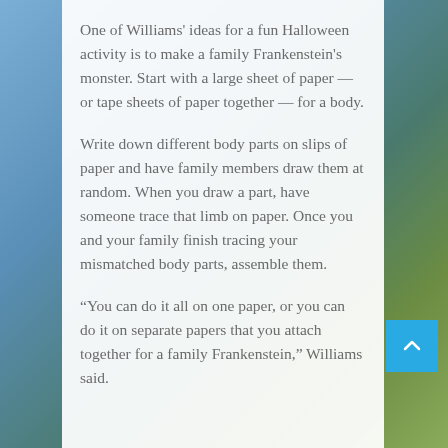One of Williams' ideas for a fun Halloween activity is to make a family Frankenstein's monster. Start with a large sheet of paper — or tape sheets of paper together — for a body.
Write down different body parts on slips of paper and have family members draw them at random. When you draw a part, have someone trace that limb on paper. Once you and your family finish tracing your mismatched body parts, assemble them.
“You can do it all on one paper, or you can do it on separate papers that you attach together for a family Frankenstein,” Williams said.